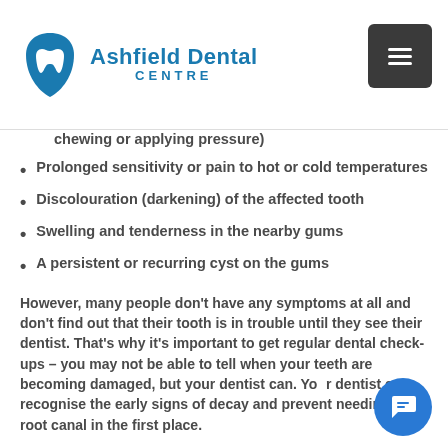[Figure (logo): Ashfield Dental Centre logo with tooth icon in blue]
chewing or applying pressure)
Prolonged sensitivity or pain to hot or cold temperatures
Discolouration (darkening) of the affected tooth
Swelling and tenderness in the nearby gums
A persistent or recurring cyst on the gums
However, many people don't have any symptoms at all and don't find out that their tooth is in trouble until they see their dentist. That's why it's important to get regular dental check-ups – you may not be able to tell when your teeth are becoming damaged, but your dentist can. Your dentist can recognise the early signs of decay and prevent needing a root canal in the first place.